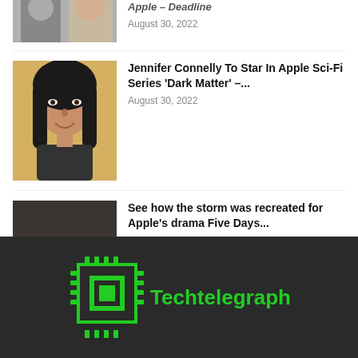[Figure (photo): Partial photo at top, two people visible, cut off]
August 30, 2022
[Figure (photo): Portrait of Jennifer Connelly, woman with dark hair on yellow background]
Jennifer Connelly To Star In Apple Sci-Fi Series 'Dark Matter' –...
August 30, 2022
[Figure (photo): Dark scene from Five Days at Memorial TV show, figures in flooded building, Apple TV+ logo]
See how the storm was recreated for Apple's drama Five Days...
August 30, 2022
[Figure (logo): Techtelegraph logo: green circuit board chip icon with text 'Techtelegraph' in green on dark background]